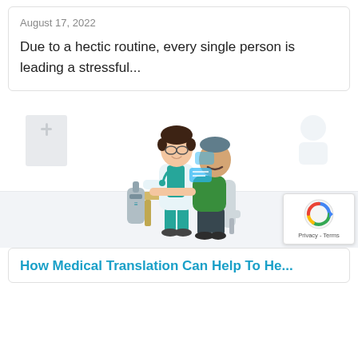August 17, 2022
Due to a hectic routine, every single person is leading a stressful...
[Figure (illustration): A medical illustration showing a doctor in white coat and teal scrubs leaning over a patient sitting on a chair, with a medical table and equipment visible. Background has light gray wall panel on the left and a faint pattern on the right. Gray floor strip at the bottom.]
How Medical Translation Can Help To He...